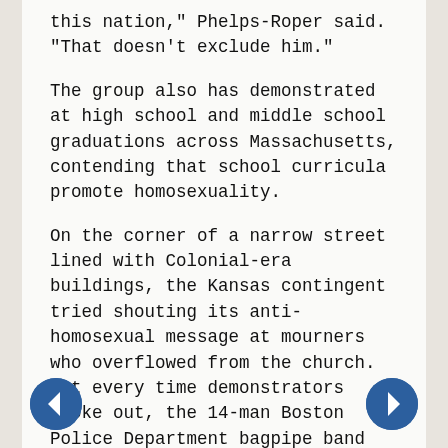this nation," Phelps-Roper said. "That doesn't exclude him."
The group also has demonstrated at high school and middle school graduations across Massachusetts, contending that school curricula promote homosexuality.
On the corner of a narrow street lined with Colonial-era buildings, the Kansas contingent tried shouting its anti-homosexual message at mourners who overflowed from the church. But every time demonstrators spoke out, the 14-man Boston Police Department bagpipe band broke into thunderous sound....